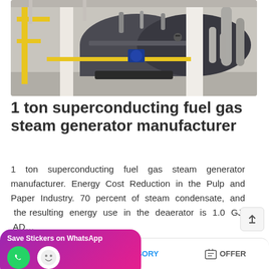[Figure (photo): Industrial boiler room with large cylindrical steam generators, yellow structural elements, white pillars, and silver insulated piping]
1 ton superconducting fuel gas steam generator manufacturer
1 ton superconducting fuel gas steam generator manufacturer. Energy Cost Reduction in the Pulp and Paper Industry. 70 percent of steam condensate, and the resulting energy use in the deaerator is 1.0 GJ/ AD…
[Figure (screenshot): Save Stickers on WhatsApp popup overlay with purple-pink gradient background and WhatsApp sticker icons]